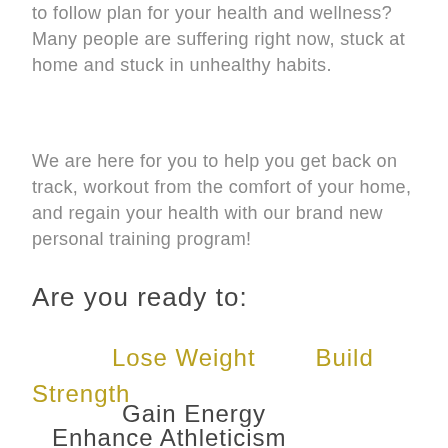to follow plan for your health and wellness? Many people are suffering right now, stuck at home and stuck in unhealthy habits.
We are here for you to help you get back on track, workout from the comfort of your home, and regain your health with our brand new personal training program!
Are you ready to:
Lose Weight    Build Strength
Gain Energy
Enhance Athleticism